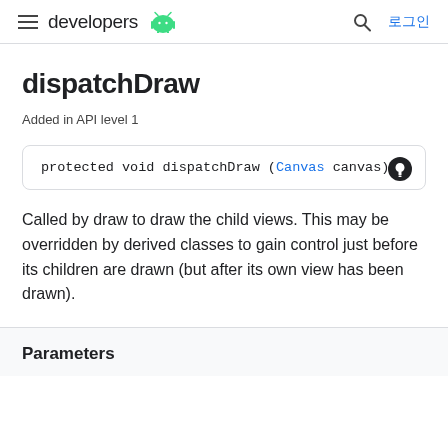developers [Android logo] | 로그인
dispatchDraw
Added in API level 1
protected void dispatchDraw (Canvas canvas)
Called by draw to draw the child views. This may be overridden by derived classes to gain control just before its children are drawn (but after its own view has been drawn).
Parameters